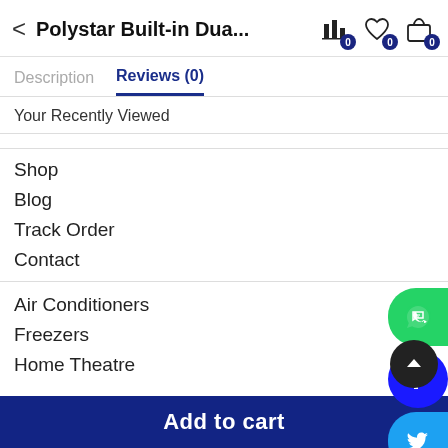Polystar Built-in Dua...
Description  Reviews (0)
Your Recently Viewed
Shop
Blog
Track Order
Contact
Air Conditioners
Freezers
Home Theatre
Add to cart